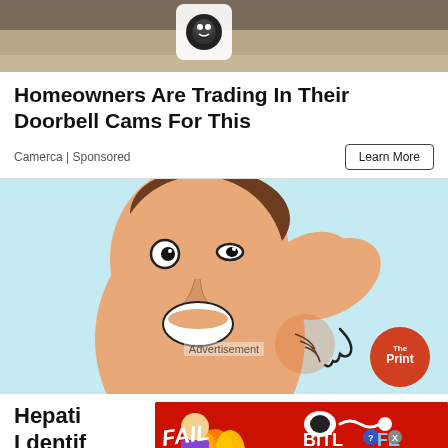[Figure (photo): Top portion of an advertisement showing a doorbell camera on a wall, partially cropped]
Homeowners Are Trading In Their Doorbell Cams For This
Camerca | Sponsored
[Figure (illustration): Cartoon illustration of a person scratching their back/shoulder, set against a light blue background, with The Print logo badge in bottom right corner. An 'Advertisement' label is overlaid.]
Hepatit... [partially visible, cut off] ...ot I dentif...
[Figure (screenshot): BitLife advertisement banner with FAIL text, cartoon woman graphic, flames, and 'START A NEW LIFE' call to action]